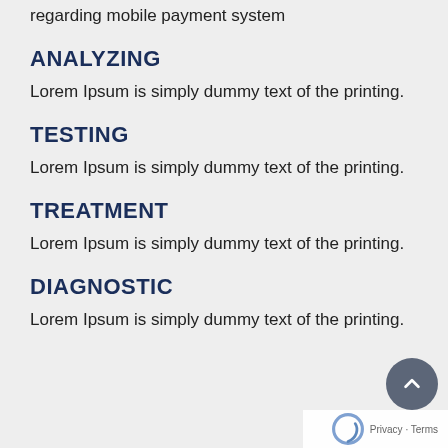regarding mobile payment system
ANALYZING
Lorem Ipsum is simply dummy text of the printing.
TESTING
Lorem Ipsum is simply dummy text of the printing.
TREATMENT
Lorem Ipsum is simply dummy text of the printing.
DIAGNOSTIC
Lorem Ipsum is simply dummy text of the printing.
Privacy · Terms